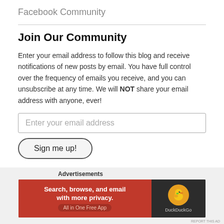Facebook Community
Join Our Community
Enter your email address to follow this blog and receive notifications of new posts by email. You have full control over the frequency of emails you receive, and you can unsubscribe at any time. We will NOT share your email address with anyone, ever!
Enter your email address
Sign me up!
Join 734 other followers
Advertisements
[Figure (screenshot): DuckDuckGo advertisement banner: 'Search, browse, and email with more privacy. All in One Free App' on orange background with DuckDuckGo logo on dark background]